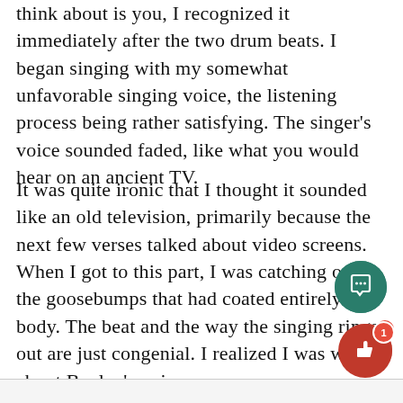think about is you,  I recognized it immediately after the two drum beats. I began singing with my somewhat unfavorable singing voice, the listening process being rather satisfying. The singer’s voice sounded faded, like what you would hear on an ancient TV.
It was quite ironic that I thought it sounded like an old television, primarily because the next few verses talked about video screens. When I got to this part, I was catching on to the goosebumps that had coated entirely my body. The beat and the way the singing rings out are just congenial. I realized I was wrong about Bayley’s voice.
[Figure (other): Teal circular comment/chat button and red circular like/thumbs-up button with badge showing '1', floating UI elements in bottom-right area]